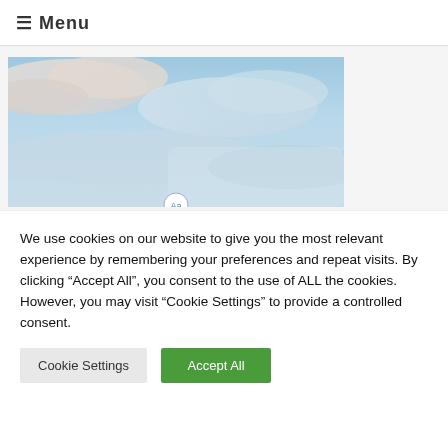≡ Menu
[Figure (photo): Sky with clouds, blue and white tones, partially visible image with a small circular logo/icon at the bottom center]
We use cookies on our website to give you the most relevant experience by remembering your preferences and repeat visits. By clicking "Accept All", you consent to the use of ALL the cookies. However, you may visit "Cookie Settings" to provide a controlled consent.
Cookie Settings
Accept All